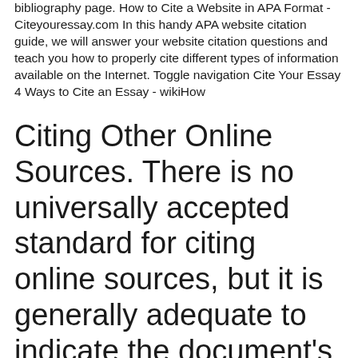bibliography page. How to Cite a Website in APA Format - Citeyouressay.com In this handy APA website citation guide, we will answer your website citation questions and teach you how to properly cite different types of information available on the Internet. Toggle navigation Cite Your Essay 4 Ways to Cite an Essay - wikiHow
Citing Other Online Sources. There is no universally accepted standard for citing online sources, but it is generally adequate to indicate the document's Web address, or URL (uniform resource locator), somewhere in the citation, usually following the date on which the electronic